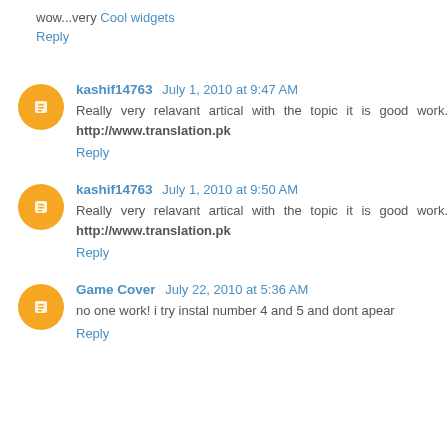wow...very Cool widgets
Reply
kashif14763 July 1, 2010 at 9:47 AM
Really very relavant artical with the topic it is good work. http://www.translation.pk
Reply
kashif14763 July 1, 2010 at 9:50 AM
Really very relavant artical with the topic it is good work. http://www.translation.pk
Reply
Game Cover July 22, 2010 at 5:36 AM
no one work! i try instal number 4 and 5 and dont apear
Reply